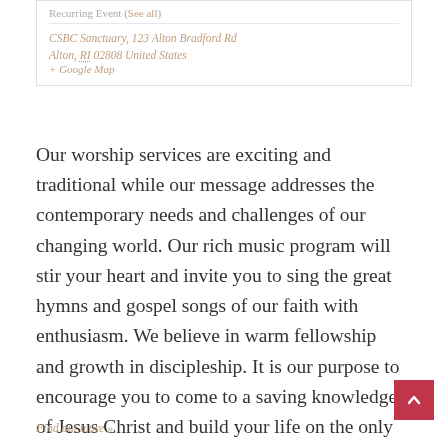Recurring Event (See all)
CSBC Sanctuary, 123 Alton Bradford Rd Alton, RI 02808 United States + Google Map
Our worship services are exciting and traditional while our message addresses the contemporary needs and challenges of our changing world. Our rich music program will stir your heart and invite you to sing the great hymns and gospel songs of our faith with enthusiasm. We believe in warm fellowship and growth in discipleship. It is our purpose to encourage you to come to a saving knowledge of Jesus Christ and build your life on the only sure foundation.
Find out more »